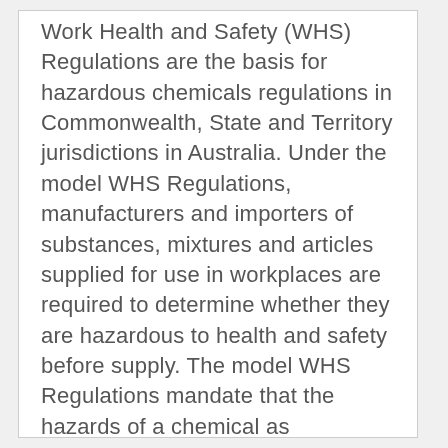Work Health and Safety (WHS) Regulations are the basis for hazardous chemicals regulations in Commonwealth, State and Territory jurisdictions in Australia. Under the model WHS Regulations, manufacturers and importers of substances, mixtures and articles supplied for use in workplaces are required to determine whether they are hazardous to health and safety before supply. The model WHS Regulations mandate that the hazards of a chemical as determined by the Globally Harmonised System of Classification and Labelling of Chemicals (GHS) must be included in